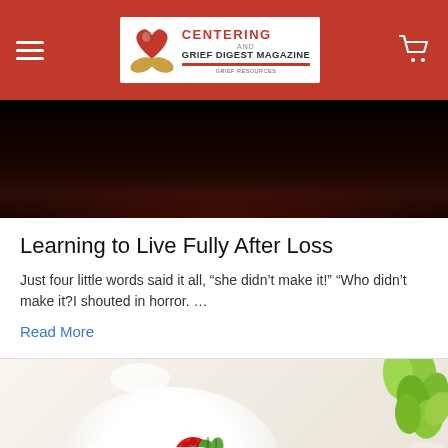Centering and Grief Digest Magazine
[Figure (photo): Dark hero image, mostly black/dark red background, partial view of an article header image]
Learning to Live Fully After Loss
Just four little words said it all, “she didn’t make it!” “Who didn’t make it?I shouted in horror. ...
Read More
[Figure (photo): Food photography showing a white dessert/cake plate with a raspberry and blueberries garnished with mint leaves, white cream topping, green plant/herb in background, bright airy styling]